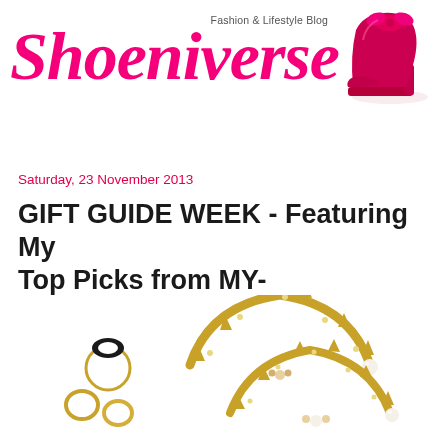Fashion & Lifestyle Blog
Shoeniverse
[Figure (photo): Pink/red high-heeled ankle boot with bow detail on light background]
Saturday, 23 November 2013
GIFT GUIDE WEEK - Featuring My Top Picks from MY-WARDROBE.COM
[Figure (photo): Gold jewelry items including an evil eye ring, gold band rings, and two spiked gold cuff bracelets with pearl and crystal details on white background]